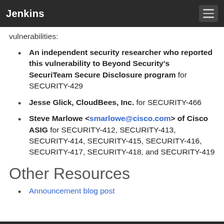Jenkins
vulnerabilities:
An independent security researcher who reported this vulnerability to Beyond Security's SecuriTeam Secure Disclosure program for SECURITY-429
Jesse Glick, CloudBees, Inc. for SECURITY-466
Steve Marlowe <smarlowe@cisco.com> of Cisco ASIG for SECURITY-412, SECURITY-413, SECURITY-414, SECURITY-415, SECURITY-416, SECURITY-417, SECURITY-418, and SECURITY-419
Other Resources
Announcement blog post